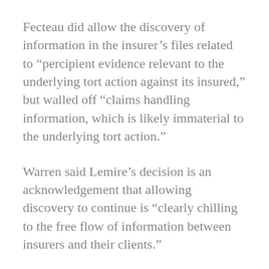Fecteau did allow the discovery of information in the insurer’s files related to “percipient evidence relevant to the underlying tort action against its insured,” but walled off “claims handling information, which is likely immaterial to the underlying tort action.”
Warren said Lemire’s decision is an acknowledgement that allowing discovery to continue is “clearly chilling to the free flow of information between insurers and their clients.”
Not only is it prejudicial to the interests of the insured to allow discovery to proceed